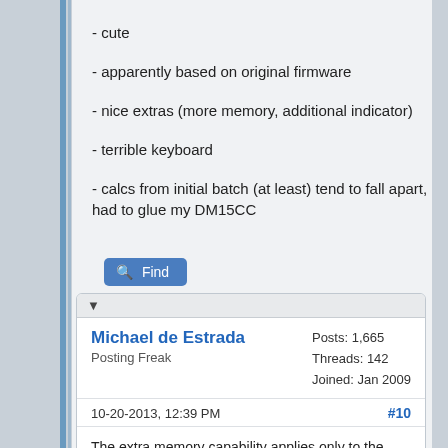- cute
- apparently based on original firmware
- nice extras (more memory, additional indicator)
- terrible keyboard
- calcs from initial batch (at least) tend to fall apart, had to glue my DM15CC
Find
▼
Michael de Estrada
Posting Freak
Posts: 1,665
Threads: 142
Joined: Jan 2009
10-20-2013, 12:39 PM
#10
The extra memory capability applies only to the DM-15CC.